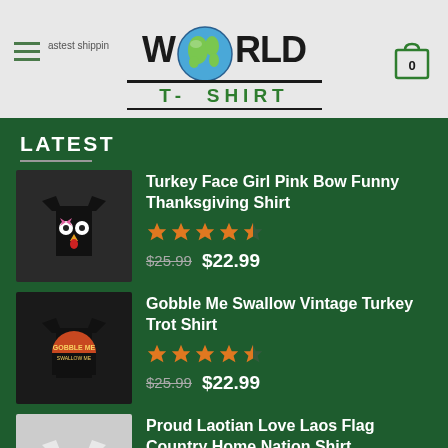[Figure (logo): World T-Shirt logo with globe replacing the O in WORLD, green text T-SHIRT below]
LATEST
Turkey Face Girl Pink Bow Funny Thanksgiving Shirt — Rating: 4.5 stars — Price: $25.99 $22.99
Gobble Me Swallow Vintage Turkey Trot Shirt — Rating: 4.5 stars — Price: $25.99 $22.99
Proud Laotian Love Laos Flag Country Home Nation Shirt — Rating: 4.5 stars — Price: $26.99 $22.99